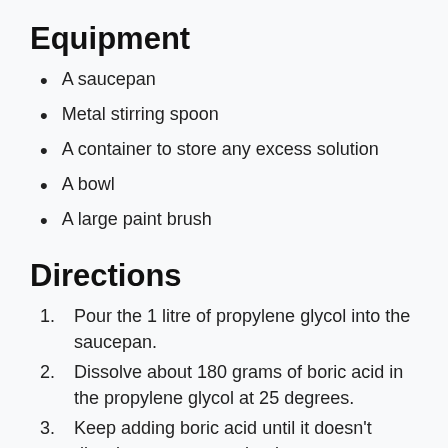Equipment
A saucepan
Metal stirring spoon
A container to store any excess solution
A bowl
A large paint brush
Directions
Pour the 1 litre of propylene glycol into the saucepan.
Dissolve about 180 grams of boric acid in the propylene glycol at 25 degrees.
Keep adding boric acid until it doesn't dissolve any more or begins re-crystallises. That way